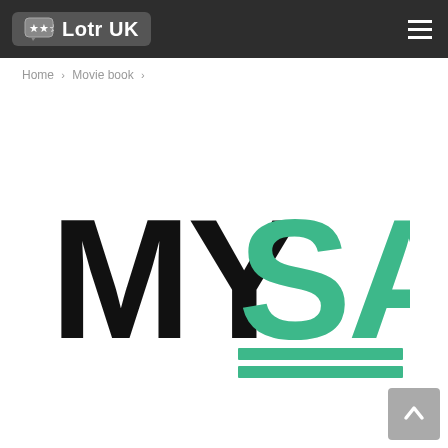Lotr UK
Home > Movie book >
[Figure (logo): MYSA logo — 'MY' in large bold black capital letters and 'SA' in large bold teal/green capital letters, with two teal horizontal bars beneath the 'SA'.]
[Figure (other): Scroll-to-top button, grey square with white upward arrow.]